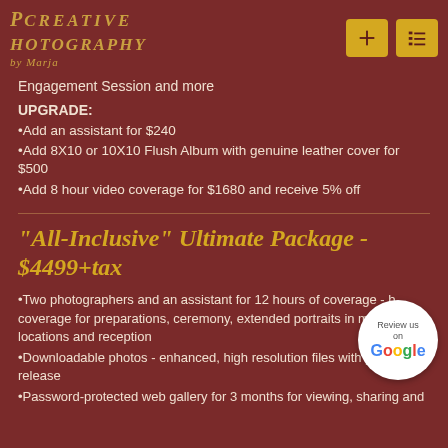[Figure (logo): Creative Photography by Marja logo in gold italic script on dark red background]
Engagement Session and more
UPGRADE:
Add an assistant for $240
Add 8X10 or 10X10 Flush Album with genuine leather cover for $500
Add 8 hour video coverage for $1680 and receive 5% off
"All-Inclusive" Ultimate Package - $4499+tax
Two photographers and an assistant for 12 hours of coverage - b... coverage for preparations, ceremony, extended portraits in mul... locations and reception
Downloadable photos - enhanced, high resolution files with prin... release
Password-protected web gallery for 3 months for viewing, sharing and...